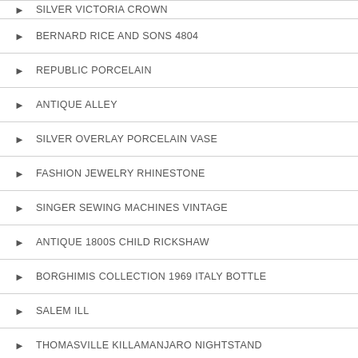SILVER VICTORIA CROWN
BERNARD RICE AND SONS 4804
REPUBLIC PORCELAIN
ANTIQUE ALLEY
SILVER OVERLAY PORCELAIN VASE
FASHION JEWELRY RHINESTONE
SINGER SEWING MACHINES VINTAGE
ANTIQUE 1800S CHILD RICKSHAW
BORGHIMIS COLLECTION 1969 ITALY BOTTLE
SALEM ILL
THOMASVILLE KILLAMANJARO NIGHTSTAND